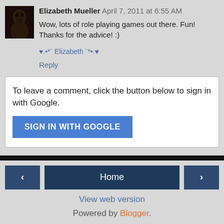Elizabeth Mueller April 7, 2011 at 6:55 AM
Wow, lots of role playing games out there. Fun! Thanks for the advice! :)
♥.•*¨ Elizabeth ¨*•.♥
Reply
To leave a comment, click the button below to sign in with Google.
SIGN IN WITH GOOGLE
< Home > View web version Powered by Blogger.